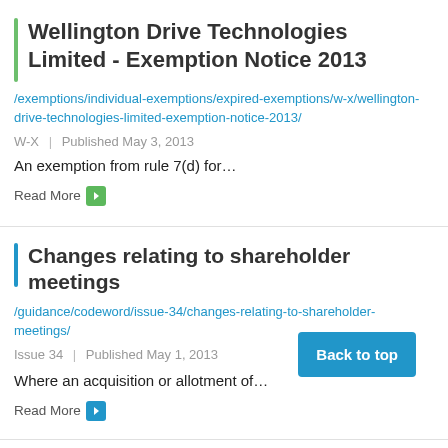Wellington Drive Technologies Limited - Exemption Notice 2013
/exemptions/individual-exemptions/expired-exemptions/w-x/wellington-drive-technologies-limited-exemption-notice-2013/
W-X  |  Published May 3, 2013
An exemption from rule 7(d) for…
Read More
Changes relating to shareholder meetings
/guidance/codeword/issue-34/changes-relating-to-shareholder-meetings/
Issue 34  |  Published May 1, 2013
Where an acquisition or allotment of…
Read More
Back to top